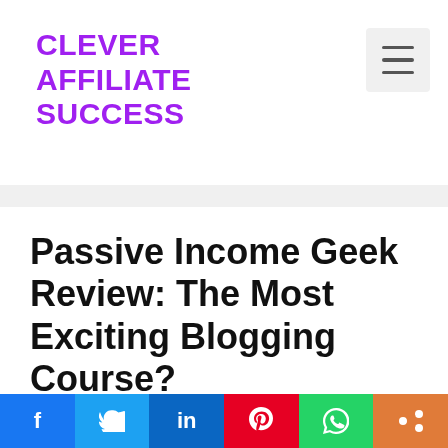CLEVER AFFILIATE SUCCESS
Passive Income Geek Review: The Most Exciting Blogging Course?
March 26, 2022 by Lily